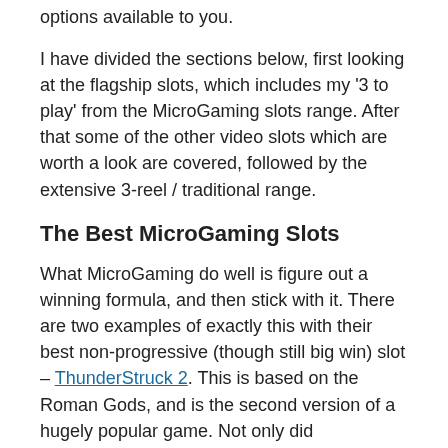options available to you.
I have divided the sections below, first looking at the flagship slots, which includes my '3 to play' from the MicroGaming slots range. After that some of the other video slots which are worth a look are covered, followed by the extensive 3-reel / traditional range.
The Best MicroGaming Slots
What MicroGaming do well is figure out a winning formula, and then stick with it. There are two examples of exactly this with their best non-progressive (though still big win) slot – ThunderStruck 2. This is based on the Roman Gods, and is the second version of a hugely popular game. Not only did MicroGaming score a big win with the update, they use the same setup for many of their other flagship slots – for example the recent big hit Immortal Romance.
There are a lot of movie and TV tie-ins within the range of games. These include the fresh new Jurassic Part (a must-play from this range), Terminator 2 and The Dark Knight Rises. You'll